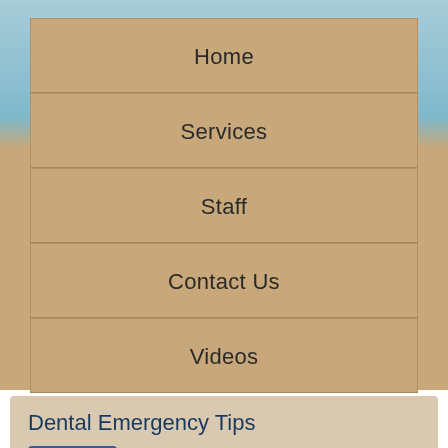Home
Services
Staff
Contact Us
Videos
Dental Emergency Tips
[Figure (other): Facebook My Page button]
Dental Emergency
Accidents happen, and knowing what to do when one occurs can mean the difference between saving and losing a tooth.
Here are some tips for common dental emergencies: